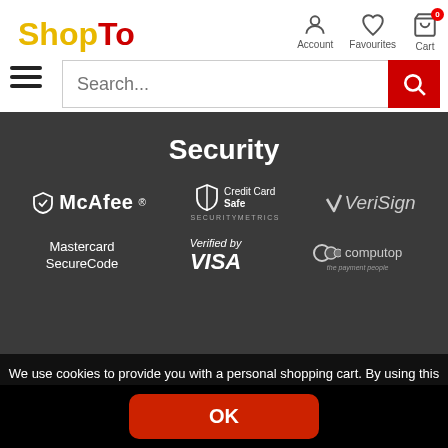[Figure (logo): ShopTo logo with 'Shop' in yellow and 'To' in red, navigation icons for Account, Favourites, Cart (with 0 badge), hamburger menu, and search bar]
Security
[Figure (logo): McAfee security logo in white]
[Figure (logo): Credit Card Safe SecurityMetrics logo in white]
[Figure (logo): VeriSign logo in grey/white]
[Figure (logo): Mastercard SecureCode logo in white]
[Figure (logo): Verified by VISA logo in white italic]
[Figure (logo): Computop - the payment people logo in grey/white]
We use cookies to provide you with a personal shopping cart. By using this website you agree to the use of cookies.
OK